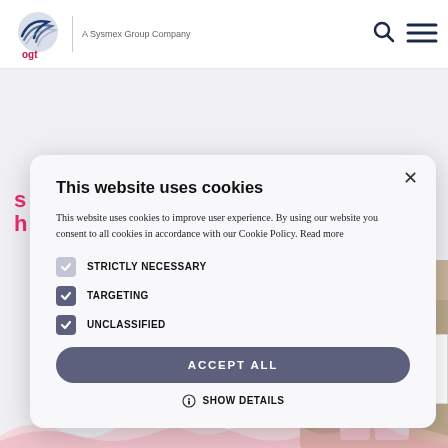[Figure (screenshot): OGT website header with logo, 'A Sysmex Group Company' text, search icon and hamburger menu]
[Figure (screenshot): Background website content partially visible: pink 'vice can' heading text and blurred lab/medical equipment photo on right side]
This website uses cookies
This website uses cookies to improve user experience. By using our website you consent to all cookies in accordance with our Cookie Policy. Read more
STRICTLY NECESSARY
TARGETING
UNCLASSIFIED
ACCEPT ALL
SHOW DETAILS
[Figure (logo): Google reCAPTCHA badge with Privacy and Terms links]